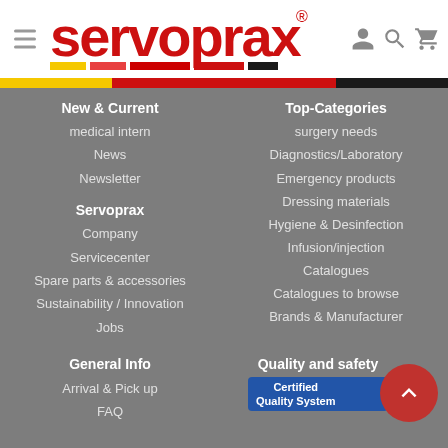[Figure (logo): Servoprax logo in red with colored bar underneath and registered trademark symbol]
New & Current
medical intern
News
Newsletter
Servoprax
Company
Servicecenter
Spare parts & accessories
Sustainability / Innovation
Jobs
Top-Categories
surgery needs
Diagnostics/Laboratory
Emergency products
Dressing materials
Hygiene & Desinfection
Infusion/injection
Catalogues
Catalogues to browse
Brands & Manufacturer
General Info
Arrival & Pick up
FAQ
Quality and safety
[Figure (illustration): Blue certified quality system badge/box]